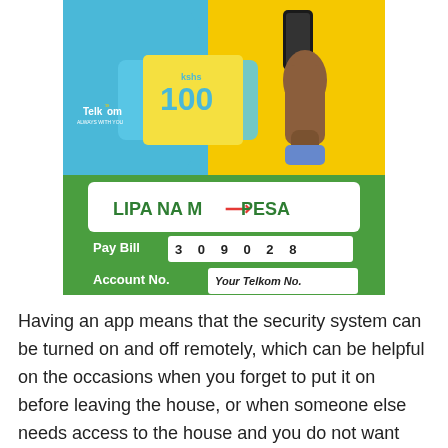[Figure (illustration): Telkom Kenya airtime top-up advertisement showing a hand holding a phone next to a Telkom scratch card worth kshs 100, with a Lipa Na M-Pesa payment panel showing Pay Bill 3 0 9 0 2 8 and Account No. Your Telkom No.]
Having an app means that the security system can be turned on and off remotely, which can be helpful on the occasions when you forget to put it on before leaving the house, or when someone else needs access to the house and you do not want